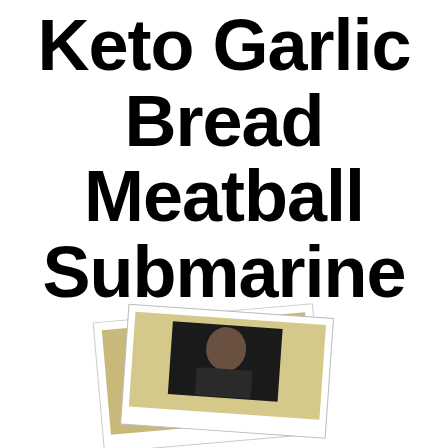Keto Garlic Bread Meatball Submarines
[Figure (photo): Polaroid-style photograph showing a person, partially visible at bottom of page]